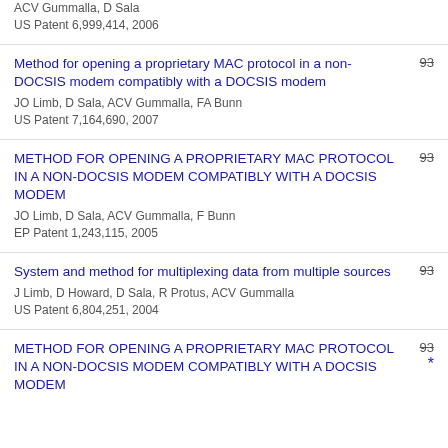ACV Gummalla, D Sala
US Patent 6,999,414, 2006
Method for opening a proprietary MAC protocol in a non-DOCSIS modem compatibly with a DOCSIS modem
JO Limb, D Sala, ACV Gummalla, FA Bunn
US Patent 7,164,690, 2007
93
METHOD FOR OPENING A PROPRIETARY MAC PROTOCOL IN A NON-DOCSIS MODEM COMPATIBLY WITH A DOCSIS MODEM
JO Limb, D Sala, ACV Gummalla, F Bunn
EP Patent 1,243,115, 2005
93
System and method for multiplexing data from multiple sources
J Limb, D Howard, D Sala, R Protus, ACV Gummalla
US Patent 6,804,251, 2004
93
METHOD FOR OPENING A PROPRIETARY MAC PROTOCOL IN A NON-DOCSIS MODEM COMPATIBLY WITH A DOCSIS MODEM
93
*